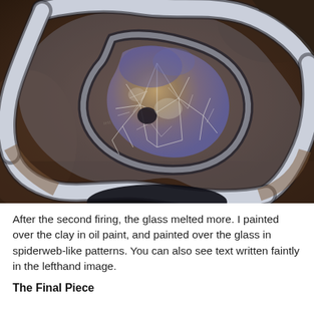[Figure (photo): Close-up photograph of an abstract mixed-media artwork showing swirling clay forms painted white/silver outlining a central irregular amoeba-like shape filled with crackled glass in brown, blue, purple and white spiderweb-like patterns on a dark background.]
After the second firing, the glass melted more. I painted over the clay in oil paint, and painted over the glass in spiderweb-like patterns. You can also see text written faintly in the lefthand image.
The Final Piece